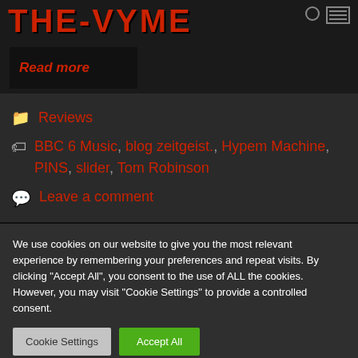[Figure (screenshot): Website header/logo area showing stylized text logo in red on dark background]
Read more
Reviews
BBC 6 Music, blog zeitgeist., Hypem Machine, PINS, slider, Tom Robinson
Leave a comment
We use cookies on our website to give you the most relevant experience by remembering your preferences and repeat visits. By clicking "Accept All", you consent to the use of ALL the cookies. However, you may visit "Cookie Settings" to provide a controlled consent.
Cookie Settings
Accept All